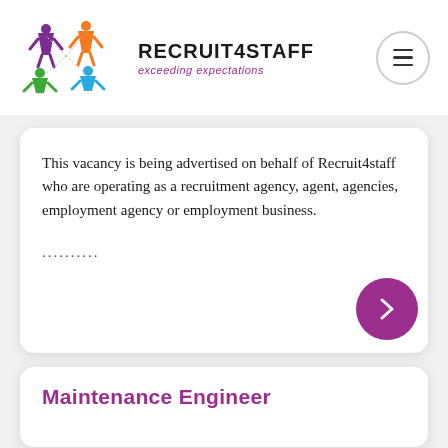[Figure (logo): Recruit4Staff logo with colorful star/person figures and brand name text]
This vacancy is being advertised on behalf of Recruit4staff who are operating as a recruitment agency, agent, agencies, employment agency or employment business.
..........
Maintenance Engineer